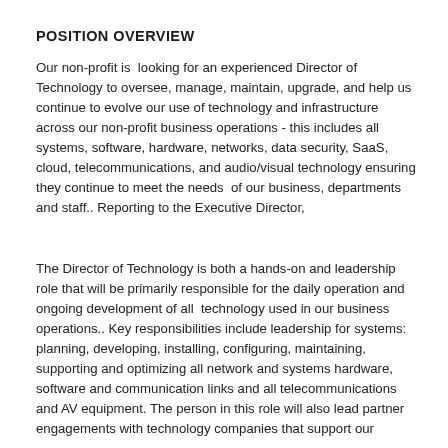POSITION OVERVIEW
Our non-profit is  looking for an experienced Director of Technology to oversee, manage, maintain, upgrade, and help us continue to evolve our use of technology and infrastructure across our non-profit business operations - this includes all systems, software, hardware, networks, data security, SaaS, cloud, telecommunications, and audio/visual technology ensuring they continue to meet the needs  of our business, departments and staff.. Reporting to the Executive Director,
The Director of Technology is both a hands-on and leadership role that will be primarily responsible for the daily operation and ongoing development of all  technology used in our business operations.. Key responsibilities include leadership for systems: planning, developing, installing, configuring, maintaining, supporting and optimizing all network and systems hardware, software and communication links and all telecommunications and AV equipment. The person in this role will also lead partner engagements with technology companies that support our